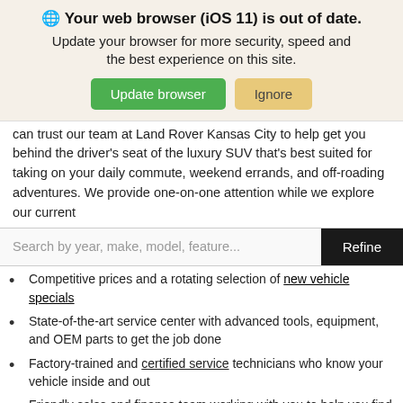[Figure (screenshot): Browser update notification banner with globe icon, bold heading 'Your web browser (iOS 11) is out of date.', subtitle 'Update your browser for more security, speed and the best experience on this site.', and two buttons: green 'Update browser' and tan 'Ignore']
can trust our team at Land Rover Kansas City to help get you behind the driver’s seat of the luxury SUV that’s best suited for taking on your daily commute, weekend errands, and off-roading adventures. We provide one-on-one attention while we explore our current
[Figure (screenshot): Search bar with placeholder text 'Search by year, make, model, feature...' and a dark 'Refine' button]
Competitive prices and a rotating selection of new vehicle specials
State-of-the-art service center with advanced tools, equipment, and OEM parts to get the job done
Factory-trained and certified service technicians who know your vehicle inside and out
Friendly sales and finance team working with you to help you find your dream vehicle at an excellent price
Comfortable service area with WiFi, water, coffee, tea, and more